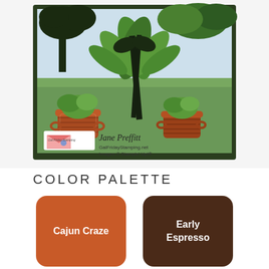[Figure (photo): Handmade greeting card with botanical/plant theme featuring terracotta pots with green plants, dark ribbon, tree silhouette cutout on dark green frame. Includes logo for Gal Friday Stamping and signature text.]
COLOR PALETTE
[Figure (infographic): Two color swatches: Cajun Craze (terracotta orange-red) and Early Espresso (dark brown)]
Cajun Craze
Early Espresso